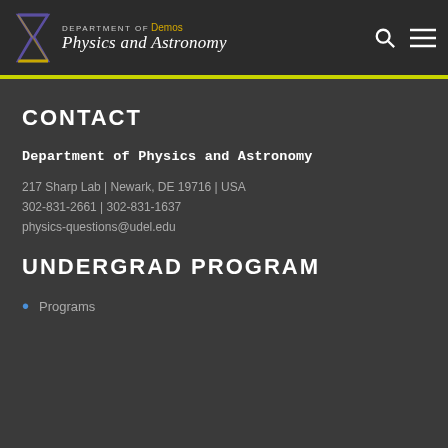DEPARTMENT OF Demos Physics and Astronomy
CONTACT
Department of Physics and Astronomy
217 Sharp Lab | Newark, DE 19716 | USA
302-831-2661 | 302-831-1637
physics-questions@udel.edu
UNDERGRAD PROGRAM
Programs